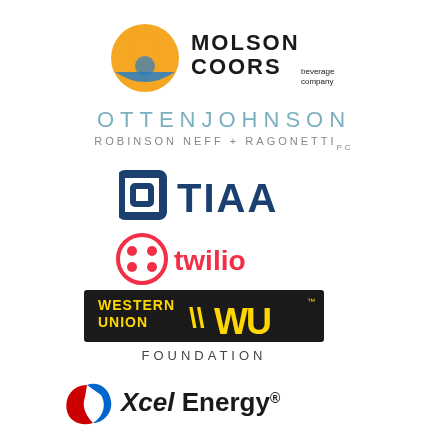[Figure (logo): Molson Coors Beverage Company logo]
[Figure (logo): Otten Johnson Robinson Neff + Ragonetti law firm logo]
[Figure (logo): TIAA logo]
[Figure (logo): Twilio logo]
[Figure (logo): Western Union Foundation logo]
[Figure (logo): Xcel Energy logo]